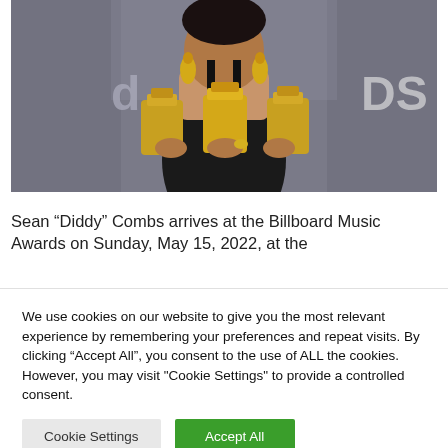[Figure (photo): Person holding multiple gold trophy awards at the Billboard Music Awards on May 15, 2022. The person is wearing a black outfit with gold jewelry and earrings, holding several large gold award trophies. The background shows a gray backdrop with partial 'DS' text visible (part of 'AWARDS' signage).]
Sean “Diddy” Combs arrives at the Billboard Music Awards on Sunday, May 15, 2022, at the
We use cookies on our website to give you the most relevant experience by remembering your preferences and repeat visits. By clicking “Accept All”, you consent to the use of ALL the cookies. However, you may visit “Cookie Settings” to provide a controlled consent.
Cookie Settings
Accept All